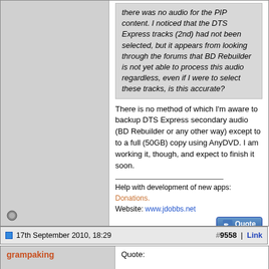there was no audio for the PIP content. I noticed that the DTS Express tracks (2nd) had not been selected, but it appears from looking through the forums that BD Rebuilder is not yet able to process this audio regardless, even if I were to select these tracks, is this accurate?
There is no method of which I'm aware to backup DTS Express secondary audio (BD Rebuilder or any other way) except to to a full (50GB) copy using AnyDVD. I am working it, though, and expect to finish it soon.
Help with development of new apps: Donations. Website: www.jdobbs.net
17th September 2010, 18:29  #9558 | Link
grampaking
Quote: